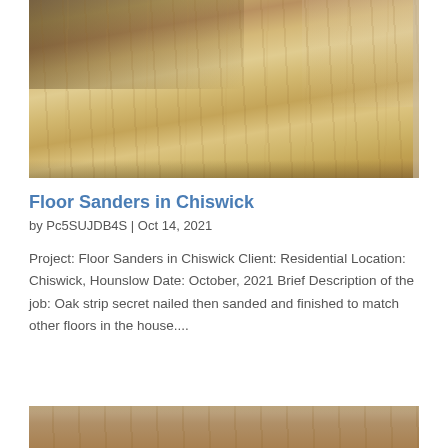[Figure (photo): Photo of a newly installed oak strip hardwood floor in a residential property, showing light natural wood planks with grain detail, viewed from above at an angle toward a white baseboard and wall in the background.]
Floor Sanders in Chiswick
by Pc5SUJDB4S | Oct 14, 2021
Project: Floor Sanders in Chiswick Client: Residential Location: Chiswick, Hounslow Date: October, 2021 Brief Description of the job: Oak strip secret nailed then sanded and finished to match other floors in the house....
[Figure (photo): Partial photo at the bottom of the page showing another view of hardwood flooring, partially cropped.]